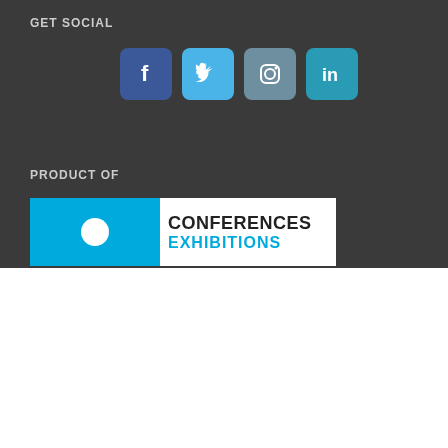GET SOCIAL
[Figure (infographic): Four social media icons: Facebook (dark blue), Twitter (light blue), Instagram (grey-blue), LinkedIn (teal-blue), each as rounded square buttons with white icons.]
PRODUCT OF
[Figure (logo): Logo banner showing a cyan/blue left panel with a white circle, and white right panel with 'CONFERENCES' in bold dark text and 'EXHIBITIONS' in bold cyan text below.]
We use cookies on our website to give you the most relevant experience by remembering your preferences and repeat visits. By clicking “Accept All”, you consent to the use of ALL the cookies. However, you may visit "Cookie Settings" to provide a controlled consent.
Cookie Settings   Accept All